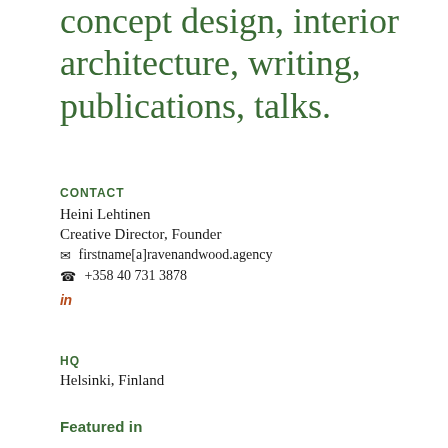concept design, interior architecture, writing, publications, talks.
CONTACT
Heini Lehtinen
Creative Director, Founder
✉ firstname[a]ravenandwood.agency
☎ +358 40 731 3878
in
HQ
Helsinki, Finland
Featured in